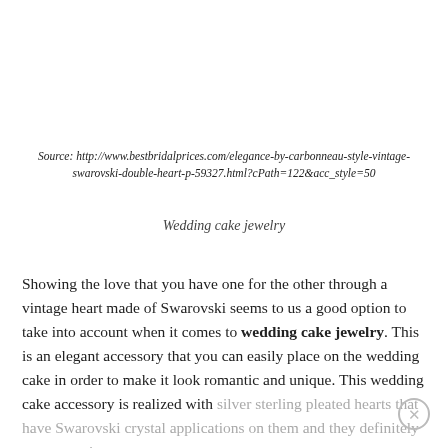Source: http://www.bestbridalprices.com/elegance-by-carbonneau-style-vintage-swarovski-double-heart-p-59327.html?cPath=122&acc_style=50
Wedding cake jewelry
Showing the love that you have one for the other through a vintage heart made of Swarovski seems to us a good option to take into account when it comes to wedding cake jewelry. This is an elegant accessory that you can easily place on the wedding cake in order to make it look romantic and unique. This wedding cake accessory is realized with silver sterling pleated hearts that have Swarovski crystal applications on them and they definitely create a unique